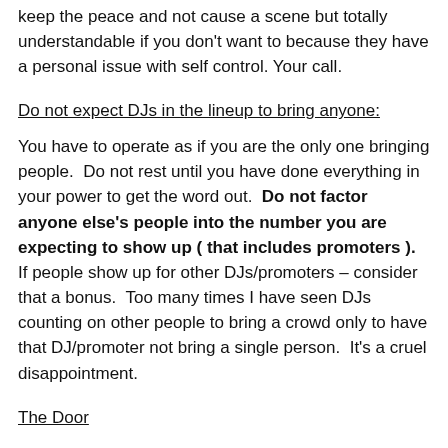keep the peace and not cause a scene but totally understandable if you don't want to because they have a personal issue with self control. Your call.
Do not expect DJs in the lineup to bring anyone:
You have to operate as if you are the only one bringing people.  Do not rest until you have done everything in your power to get the word out.  Do not factor anyone else's people into the number you are expecting to show up ( that includes promoters ).  If people show up for other DJs/promoters – consider that a bonus.  Too many times I have seen DJs counting on other people to bring a crowd only to have that DJ/promoter not bring a single person.  It's a cruel disappointment.
The Door